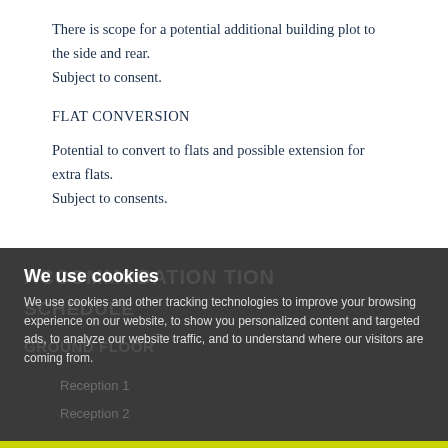There is scope for a potential additional building plot to the side and rear. Subject to consent.
FLAT CONVERSION
Potential to convert to flats and possible extension for extra flats. Subject to consents.
ACCOMMODATION SCHEDULE
GROUND FLOOR
Reception 1
Reception 2
We use cookies
We use cookies and other tracking technologies to improve your browsing experience on our website, to show you personalized content and targeted ads, to analyze our website traffic, and to understand where our visitors are coming from.